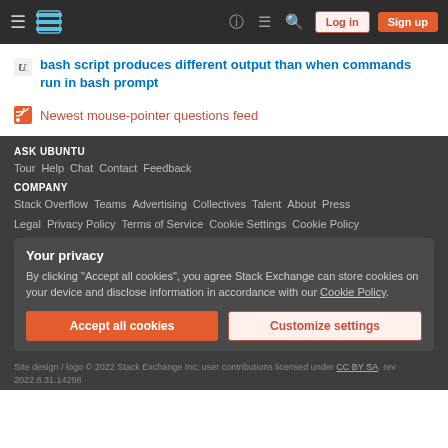Ask Ubuntu navigation bar with hamburger menu, logo, icons, Log in and Sign up buttons
bash script produces different output than when commands run in bash prompt
Newest mouse-pointer questions feed
ASK UBUNTU
Tour  Help  Chat  Contact  Feedback
COMPANY
Stack Overflow  Teams  Advertising  Collectives  Talent  About  Press
Legal  Privacy Policy  Terms of Service  Cookie Settings  Cookie Policy
Your privacy
By clicking "Accept all cookies", you agree Stack Exchange can store cookies on your device and disclose information in accordance with our Cookie Policy.
Accept all cookies  Customize settings
Site design / logo © 2022 Stack Exchange Inc; user contributions licensed under CC BY SA. rev 2022.8.31.14298